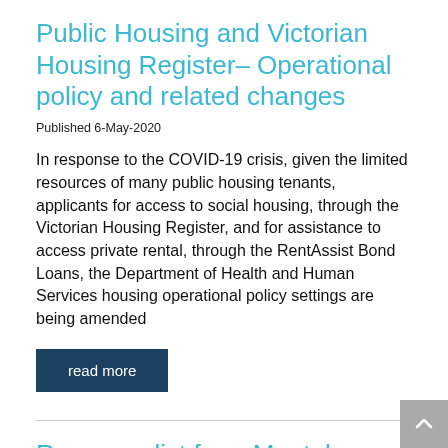Public Housing and Victorian Housing Register– Operational policy and related changes
Published 6-May-2020
In response to the COVID-19 crisis, given the limited resources of many public housing tenants, applicants for access to social housing, through the Victorian Housing Register, and for assistance to access private rental, through the RentAssist Bond Loans, the Department of Health and Human Services housing operational policy settings are being amended
read more
Resource list from Mental Health Academy - re Australian Bushfire Crisis